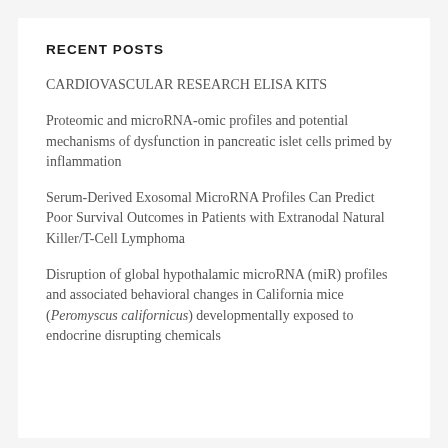RECENT POSTS
CARDIOVASCULAR RESEARCH ELISA KITS
Proteomic and microRNA-omic profiles and potential mechanisms of dysfunction in pancreatic islet cells primed by inflammation
Serum-Derived Exosomal MicroRNA Profiles Can Predict Poor Survival Outcomes in Patients with Extranodal Natural Killer/T-Cell Lymphoma
Disruption of global hypothalamic microRNA (miR) profiles and associated behavioral changes in California mice (Peromyscus californicus) developmentally exposed to endocrine disrupting chemicals